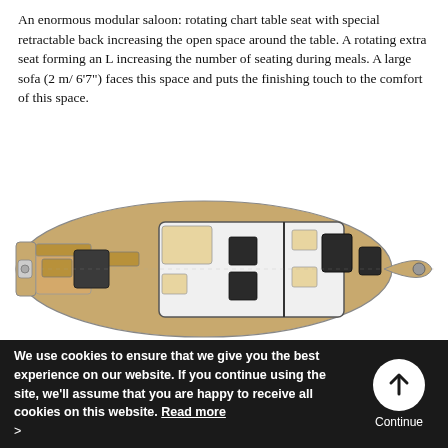An enormous modular saloon: rotating chart table seat with special retractable back increasing the open space around the table. A rotating extra seat forming an L increasing the number of seating during meals. A large sofa (2 m/ 6'7") faces this space and puts the finishing touch to the comfort of this space.
[Figure (engineering-diagram): Top-down floor plan diagram of a sailboat interior (top view), showing the saloon layout with chart table, seating areas, cabins, and deck layout rendered in tan/wood tones with white cabin interior.]
[Figure (engineering-diagram): Second top-down floor plan diagram of a sailboat interior (partial view, same model), showing alternative or same layout from a slightly different configuration, partially cropped at bottom.]
We use cookies to ensure that we give you the best experience on our website. If you continue using the site, we'll assume that you are happy to receive all cookies on this website. Read more >